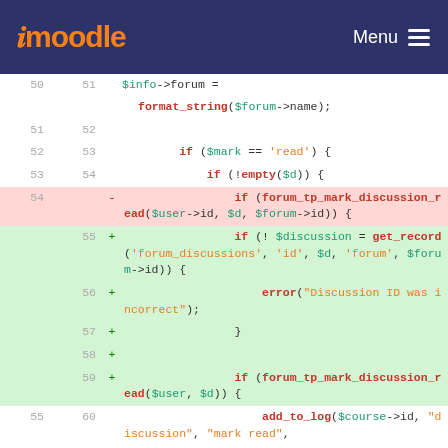moodle  Menu
[Figure (screenshot): Code diff view showing PHP code changes in a Moodle forum module. Lines 50-60 showing modifications to forum_tp_mark_discussion_read function calls and get_record usage.]